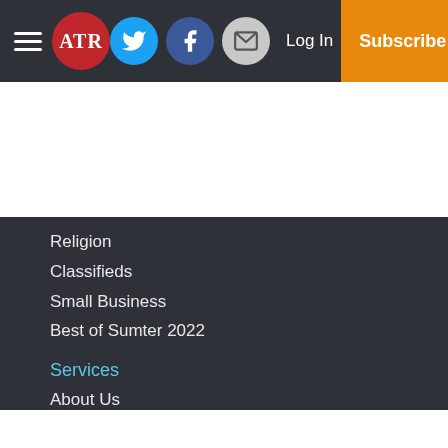ATR | Log In | Subscribe
Religion
Classifieds
Small Business
Best of Sumter 2022
Services
About Us
Policies
Terms of Use
Subscribe
Submit
Copyright
© 2022, Americus Times-Recorder